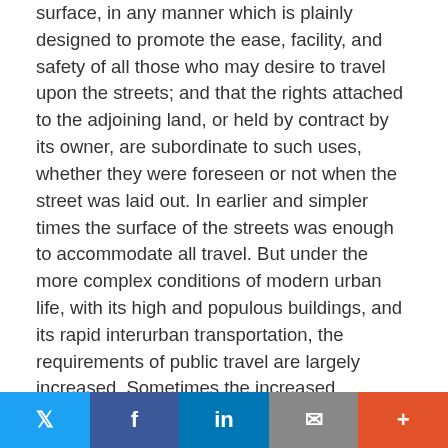surface, in any manner which is plainly designed to promote the ease, facility, and safety of all those who may desire to travel upon the streets; and that the rights attached to the adjoining land, or held by contract by its owner, are subordinate to such uses, whether they were foreseen or not when the street was laid out. In earlier and simpler times the surface of the streets was enough to accommodate all travel. But under the more complex conditions of modern urban life, with its high and populous buildings, and its rapid interurban transportation, the requirements of public travel are largely increased. Sometimes the increased demands may be met by subways and sometimes by viaducts. The construction of either solely for public travel may well be held by a state court to be a reasonable adaptation of the streets to the uses for which they were primarily designed. What we might hold on these questions where we had full jurisdicio n of the subject, it is not necessary here even to
Twitter | Facebook | LinkedIn | Email | More